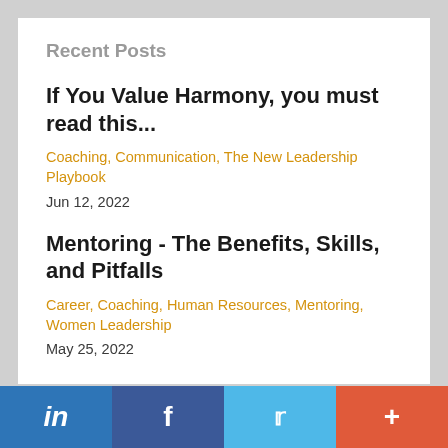Recent Posts
If You Value Harmony, you must read this...
Coaching, Communication, The New Leadership Playbook
Jun 12, 2022
Mentoring - The Benefits, Skills, and Pitfalls
Career, Coaching, Human Resources, Mentoring, Women Leadership
May 25, 2022
in  f  (twitter)  +